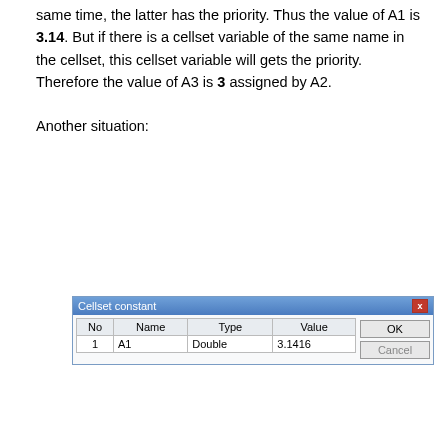same time, the latter has the priority. Thus the value of A1 is 3.14. But if there is a cellset variable of the same name in the cellset, this cellset variable will gets the priority. Therefore the value of A3 is 3 assigned by A2.
Another situation:
[Figure (screenshot): Cellset constant dialog showing No=1, Name=A1, Type=Double, Value=3.1416 with OK and Cancel buttons]
[Figure (screenshot): Program parameter dialog showing Set arguments before run checkbox, No=1, Name=A1, Value=3.14 with OK and Cancel buttons]
|  | A |
| --- | --- |
| 1 |  |
| 2 | =A1 |